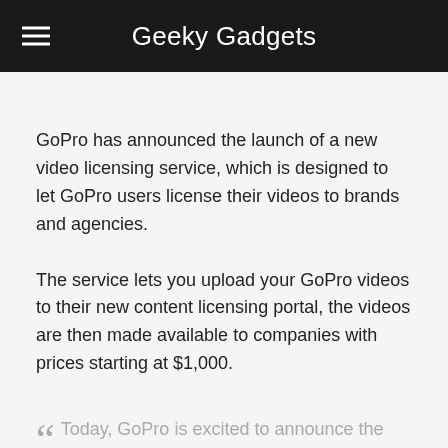Geeky Gadgets
GoPro has announced the launch of a new video licensing service, which is designed to let GoPro users license their videos to brands and agencies.
The service lets you upload your GoPro videos to their new content licensing portal, the videos are then made available to companies with prices starting at $1,000.
Today, GoPro is excited to announce the next step in rewarding the GoPro creator community: the launch of a premium content licensing portal for global advertising brands and agencies to license premiere video and images. The high-end offering is all about inspiring creative professionals to use beautiful